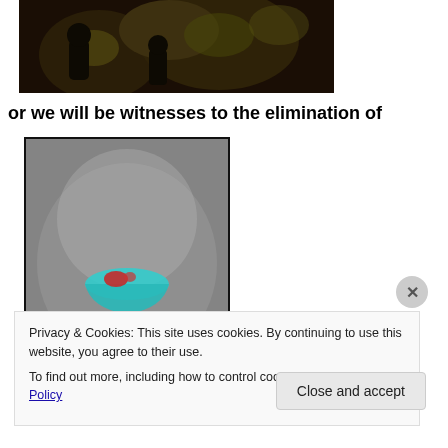[Figure (photo): Dark, low-lit photograph showing figures in dim yellowish-green lighting against a very dark brown background]
or we will be witnesses to the elimination of
[Figure (photo): Dark atmospheric photo showing a glowing teal/green lamp or light fixture with red accents, on a reddish stem, against a grey misty background]
Privacy & Cookies: This site uses cookies. By continuing to use this website, you agree to their use.
To find out more, including how to control cookies, see here: Cookie Policy